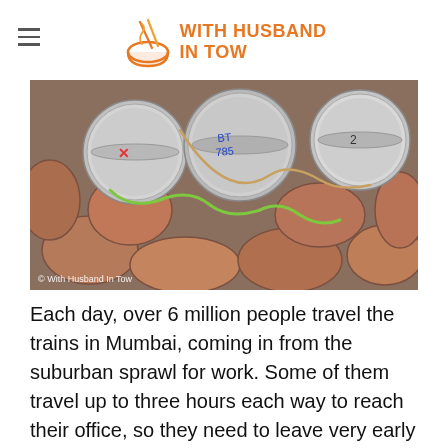WITH HUSBAND IN TOW
[Figure (photo): Overhead view of several cylindrical metal tiffin/lunch containers tied with string and rope, resting on a red brick cobblestone surface. Handwritten labels visible on the lids. Copyright text: © With Husband In Tow]
Each day, over 6 million people travel the trains in Mumbai, coming in from the suburban sprawl for work. Some of them travel up to three hours each way to reach their office, so they need to leave very early in the morning. Many of them are men, with wives at home who prepare their lunches. To avoid the wives having to work all night to prepare a proper, hot Indian lunch to send off